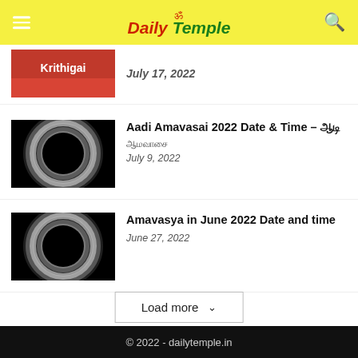☰ ॐ Daily Temple 🔍
Krithigai — July 17, 2022
[Figure (photo): Solar eclipse image — dark circle with white corona glow]
Aadi Amavasai 2022 Date & Time – ஆடி அமாவாசை
July 9, 2022
[Figure (photo): Solar eclipse image — dark circle with white corona glow]
Amavasya in June 2022 Date and time
June 27, 2022
Load more ˅
© 2022 - dailytemple.in